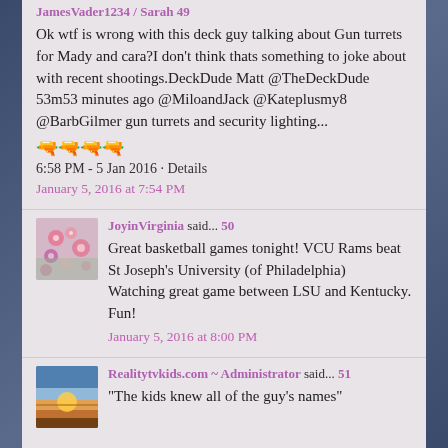JamesVader1234 / Sarah 49
Ok wtf is wrong with this deck guy talking about Gun turrets for Mady and cara?I don't think thats something to joke about with recent shootings.DeckDude Matt @TheDeckDude 53m53 minutes ago @MiloandJack @Kateplusmy8 @BarbGilmer gun turrets and security lighting...
🔫🔫🔫🔫
6:58 PM - 5 Jan 2016 · Details
January 5, 2016 at 7:54 PM
JoyinVirginia said... 50
Great basketball games tonight! VCU Rams beat St Joseph's University (of Philadelphia)
Watching great game between LSU and Kentucky. Fun!
January 5, 2016 at 8:00 PM
Realitytvkids.com ~ Administrator said... 51
"The kids knew all of the guy's names"